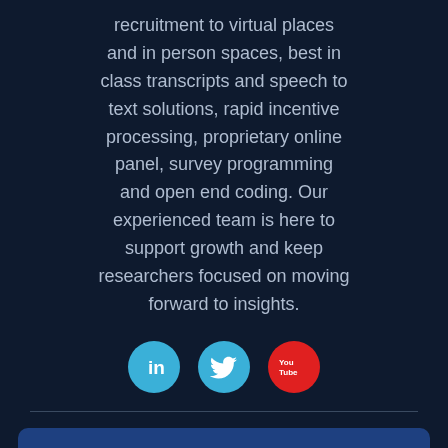recruitment to virtual places and in person spaces, best in class transcripts and speech to text solutions, rapid incentive processing, proprietary online panel, survey programming and open end coding. Our experienced team is here to support growth and keep researchers focused on moving forward to insights.
[Figure (infographic): Three social media icons: LinkedIn (blue circle with 'in'), Twitter (blue circle with bird icon), YouTube (red circle with 'You Tube' text)]
Contact